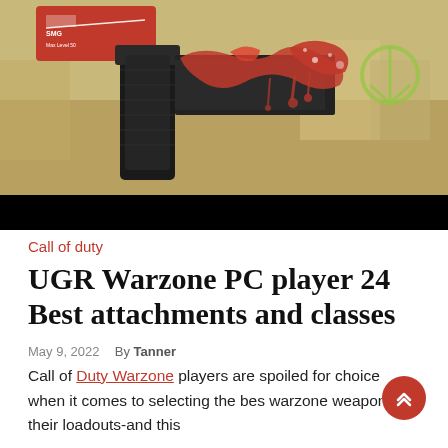[Figure (photo): Screenshot from Call of Duty Warzone showing a weapon with red blood splatter paint skin, set against a colorful outdoor game map background. A red card in the top-left shows a weapon icon and text 'SMG Max Level 50'. A black bar runs across the bottom of the image.]
Call of duty
UGR Warzone PC player 24 Best attachments and classes
May 9, 2022   By Tanner
Call of Duty Warzone players are spoiled for choice when it comes to selecting the best warzone weapons for their loadouts-and this